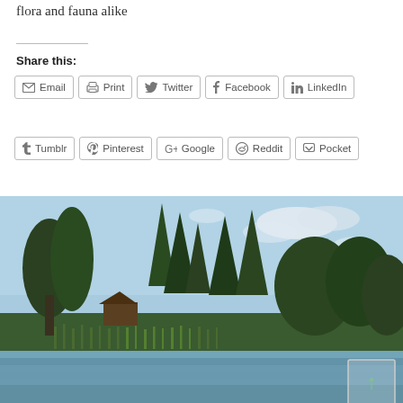flora and fauna alike
Share this:
[Figure (other): Share buttons row 1: Email, Print, Twitter, Facebook, LinkedIn]
[Figure (other): Share buttons row 2: Tumblr, Pinterest, Google, Reddit, Pocket]
[Figure (photo): Landscape photo of a lake with tall pine trees, green reeds along the water, a small wooden cabin visible among the trees, and a blue sky with light clouds. A small scroll-to-top button appears in the lower right corner.]